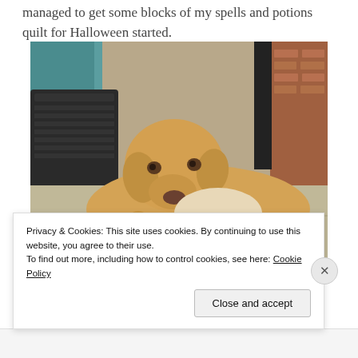managed to get some blocks of my spells and potions quilt for Halloween started.
[Figure (photo): A golden/yellow Labrador dog lying on a concrete patio, resting its head forward, with dark wicker outdoor furniture and a teal/blue wall in the background and brick wall on the right.]
Privacy & Cookies: This site uses cookies. By continuing to use this website, you agree to their use.
To find out more, including how to control cookies, see here: Cookie Policy
Close and accept